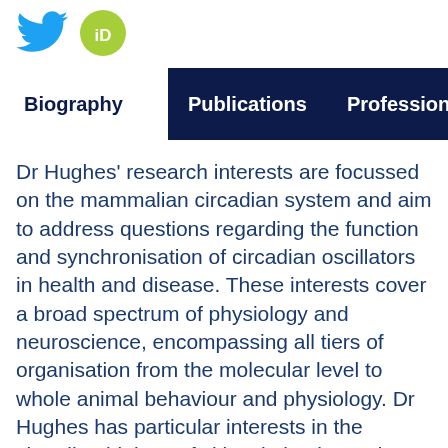[Figure (logo): Twitter bird logo icon in blue]
[Figure (logo): ORCID iD logo - green circle with white 'iD' text]
Biography | Publications | Professional
Dr Hughes' research interests are focussed on the mammalian circadian system and aim to address questions regarding the function and synchronisation of circadian oscillators in health and disease. These interests cover a broad spectrum of physiology and neuroscience, encompassing all tiers of organisation from the molecular level to whole animal behaviour and physiology. Dr Hughes has particular interests in the circadian biology of skin, skeletal muscle and neural tissue, neuropeptide regulation of circadian function and the impact of lifestyle factors such as exercise and diet on circadian